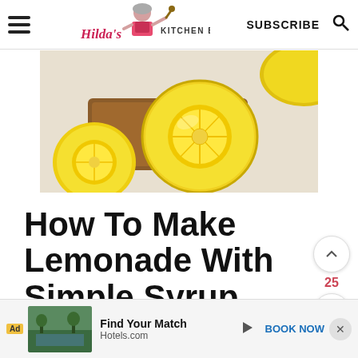Hilda's Kitchen Blog  SUBSCRIBE
[Figure (photo): Close-up photo of sliced lemons on a wooden cutting board with lace fabric background]
How To Make Lemonade With Simple Syrup
Making lemonade with simple syrup is yet
[Figure (infographic): Ad banner: Hotels.com - Find Your Match with BOOK NOW button]